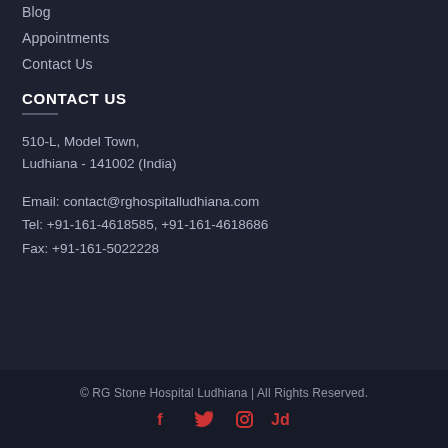Blog
Appointments
Contact Us
CONTACT US
510-L, Model Town,
Ludhiana - 141002 (India)
Email: contact@rghospitalludhiana.com
Tel: +91-161-4618585, +91-161-4618686
Fax: +91-161-5022228
© RG Stone Hospital Ludhiana | All Rights Reserved.